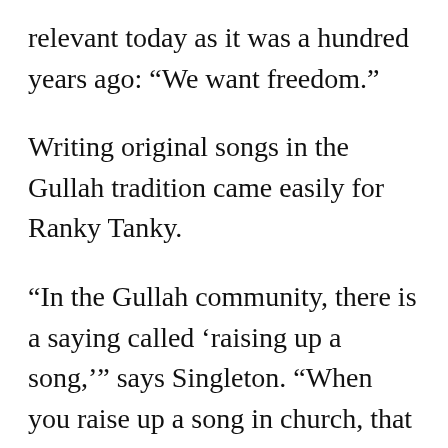relevant today as it was a hundred years ago: “We want freedom.”
Writing original songs in the Gullah tradition came easily for Ranky Tanky.
“In the Gullah community, there is a saying called ‘raising up a song,’” says Singleton. “When you raise up a song in church, that means